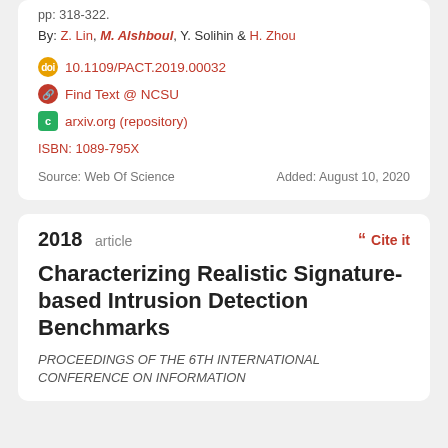pp: 318-322.
By: Z. Lin, M. Alshboul, Y. Solihin & H. Zhou
10.1109/PACT.2019.00032
Find Text @ NCSU
arxiv.org (repository)
ISBN: 1089-795X
Source: Web Of Science
Added: August 10, 2020
2018 article
Cite it
Characterizing Realistic Signature-based Intrusion Detection Benchmarks
PROCEEDINGS OF THE 6TH INTERNATIONAL CONFERENCE ON INFORMATION